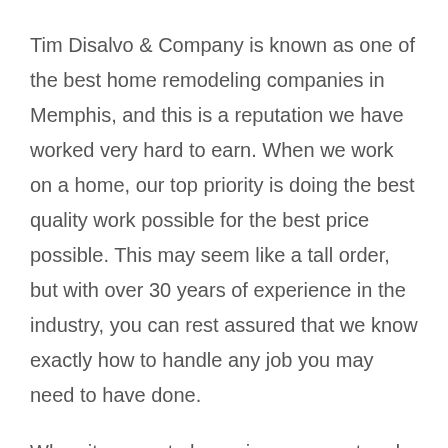Tim Disalvo & Company is known as one of the best home remodeling companies in Memphis, and this is a reputation we have worked very hard to earn. When we work on a home, our top priority is doing the best quality work possible for the best price possible. This may seem like a tall order, but with over 30 years of experience in the industry, you can rest assured that we know exactly how to handle any job you may need to have done.
When it comes to home improvement and remodeling, there are many factors to consider. From looking at home remodeling designs to browsing different styles of house renovations,